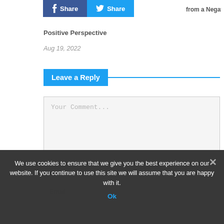[Figure (screenshot): Facebook Share button (dark blue) and Twitter Share button (light blue) side by side]
Positive Perspective
Aug 19, 2022
Leave a Reply
Your Comment...
Email
We use cookies to ensure that we give you the best experience on our website. If you continue to use this site we will assume that you are happy with it.
Ok